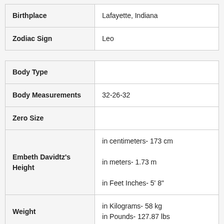| Field | Value |
| --- | --- |
| Birthplace | Lafayette, Indiana |
| Zodiac Sign | Leo |
| Field | Value |
| --- | --- |
| Body Type |  |
| Body Measurements | 32-26-32 |
| Zero Size |  |
| Embeth Davidtz's Height | in centimeters- 173 cm
in meters- 1.73 m
in Feet Inches- 5' 8" |
| Weight | in Kilograms- 58 kg
in Pounds- 127.87 lbs |